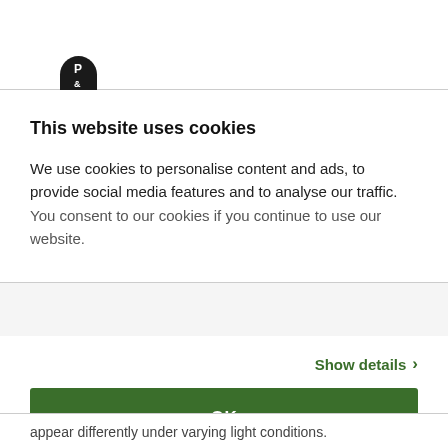[Figure (logo): P & T logo badge — white text on dark rounded rectangle]
This website uses cookies
We use cookies to personalise content and ads, to provide social media features and to analyse our traffic. You consent to our cookies if you continue to use our website.
Show details ›
OK
appear differently under varying light conditions.